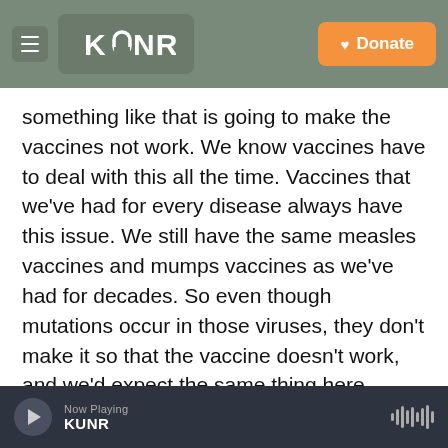KUNR | Donate
something like that is going to make the vaccines not work. We know vaccines have to deal with this all the time. Vaccines that we've had for every disease always have this issue. We still have the same measles vaccines and mumps vaccines as we've had for decades. So even though mutations occur in those viruses, they don't make it so that the vaccine doesn't work, and we'd expect the same thing here.
Starbuck: While we're on the topic of vaccines, over 29,000 have been administered here in Nevada. Is that a good pace that we're going at
Now Playing KUNR